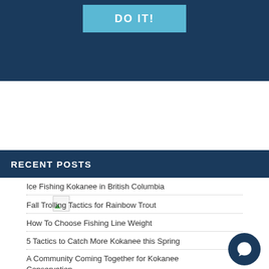[Figure (screenshot): Dark blue banner with a light blue button labeled 'DO IT!']
[Figure (illustration): Broken/missing image placeholder icon]
RECENT POSTS
Ice Fishing Kokanee in British Columbia
Fall Trolling Tactics for Rainbow Trout
How To Choose Fishing Line Weight
5 Tactics to Catch More Kokanee this Spring
A Community Coming Together for Kokanee Conservation